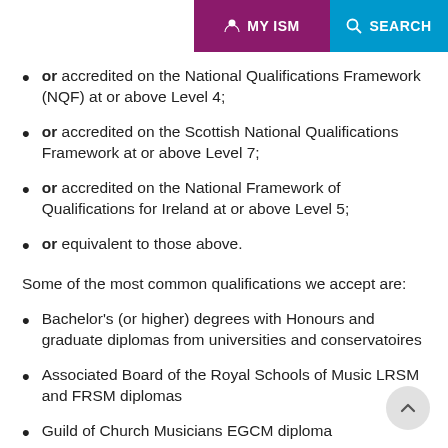MENU | MY ISM | SEARCH
or accredited on the National Qualifications Framework (NQF) at or above Level 4;
or accredited on the Scottish National Qualifications Framework at or above Level 7;
or accredited on the National Framework of Qualifications for Ireland at or above Level 5;
or equivalent to those above.
Some of the most common qualifications we accept are:
Bachelor's (or higher) degrees with Honours and graduate diplomas from universities and conservatoires
Associated Board of the Royal Schools of Music LRSM and FRSM diplomas
Guild of Church Musicians EGCM diploma